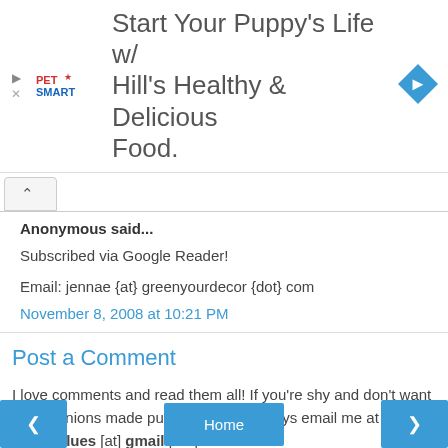[Figure (advertisement): PetSmart advertisement: 'Start Your Puppy's Life w/ Hill's Healthy & Delicious Food.' with PetSmart logo and a blue diamond navigation icon]
Anonymous said...
Subscribed via Google Reader!
Email: jennae {at} greenyourdecor {dot} com
November 8, 2008 at 10:21 PM
Post a Comment
I love comments and read them all! If you're shy and don't want your opinions made public, you can always email me at condoblues [at] gmail [dot] com.